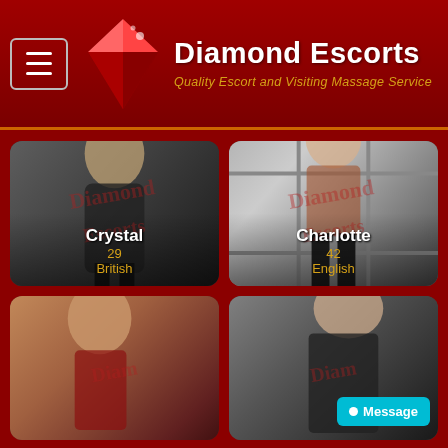Diamond Escorts — Quality Escort and Visiting Massage Service
[Figure (photo): Crystal, age 29, British escort profile photo — woman in black dress leaning over a stool]
Crystal
29
British
[Figure (photo): Charlotte, age 42, English escort profile photo — woman in black lingerie standing by window]
Charlotte
42
English
[Figure (photo): Third escort profile photo — brunette woman in red top]
[Figure (photo): Fourth escort profile photo — woman in dark clothing]
Message